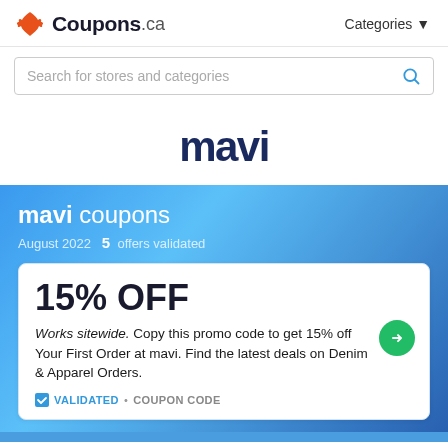Coupons.ca  Categories ▼
Search for stores and categories
[Figure (logo): Mavi brand logo in dark navy bold text]
mavi coupons
August 2022  5 offers validated
15% OFF
Works sitewide. Copy this promo code to get 15% off Your First Order at mavi. Find the latest deals on Denim & Apparel Orders.
✔ VALIDATED • COUPON CODE